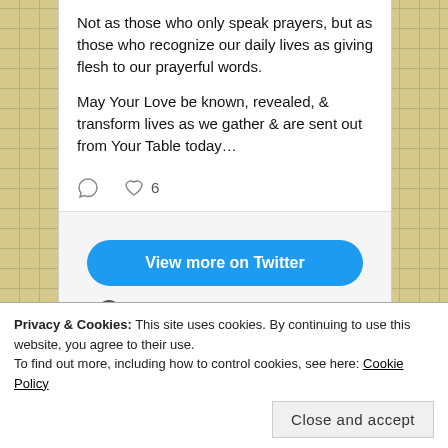Not as those who only speak prayers, but as those who recognize our daily lives as giving flesh to our prayerful words.

May Your Love be known, revealed, & transform lives as we gather & are sent out from Your Table today…
[Figure (screenshot): Tweet interaction icons: comment bubble and heart with count 6]
View more on Twitter
Learn more about privacy on Twitter
Privacy & Cookies: This site uses cookies. By continuing to use this website, you agree to their use.
To find out more, including how to control cookies, see here: Cookie Policy
Close and accept
Check out some of my spoken word poetry!